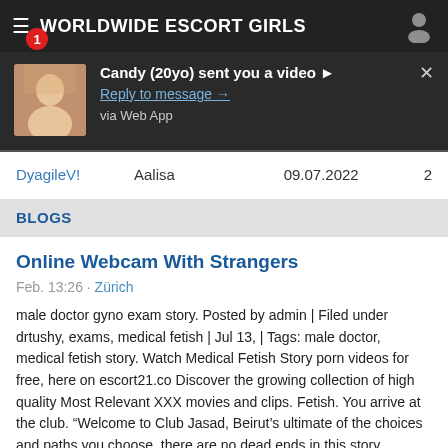WORLDWIDE ESCORT GIRLS
[Figure (screenshot): Notification popup showing a thumbnail image of a blonde woman with message: Candy (20yo) sent you a video ▶, Reply to message →, via Web App]
| DyagileV! | Aalisa | 09.07.2022 | 2 |
BLOGS
Online Webcam With Strangers
Feb. 13:26 · Zürich
male doctor gyno exam story. Posted by admin | Filed under drtushy, exams, medical fetish | Jul 13, | Tags: male doctor, medical fetish story. Watch Medical Fetish Story porn videos for free, here on escort21.co Discover the growing collection of high quality Most Relevant XXX movies and clips. Fetish. You arrive at the club. "Welcome to Club Jasad, Beirut's ultimate of the choices and paths you choose, there are no dead ends in this story....